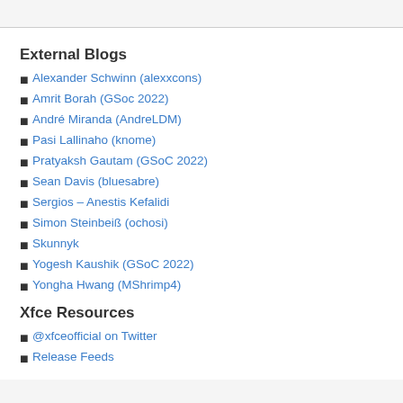External Blogs
Alexander Schwinn (alexxcons)
Amrit Borah (GSoc 2022)
André Miranda (AndreLDM)
Pasi Lallinaho (knome)
Pratyaksh Gautam (GSoC 2022)
Sean Davis (bluesabre)
Sergios – Anestis Kefalidi
Simon Steinbeiß (ochosi)
Skunnyk
Yogesh Kaushik (GSoC 2022)
Yongha Hwang (MShrimp4)
Xfce Resources
@xfceofficial on Twitter
Release Feeds